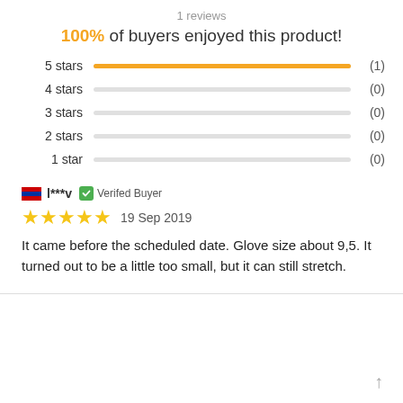1 reviews
100% of buyers enjoyed this product!
[Figure (bar-chart): Star rating distribution]
l***v  Verifed Buyer
19 Sep 2019
It came before the scheduled date. Glove size about 9,5. It turned out to be a little too small, but it can still stretch.